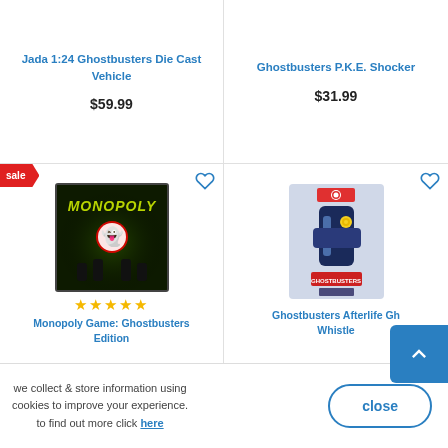Jada 1:24 Ghostbusters Die Cast Vehicle
$59.99
Ghostbusters P.K.E. Shocker
$31.99
[Figure (photo): Ghostbusters Monopoly board game box with green glowing design and ghost logo silhouettes]
★★★★★
Monopoly Game: Ghostbusters Edition
[Figure (photo): Ghostbusters Afterlife Ghost Whistle toy in packaging]
Ghostbusters Afterlife Ghost Whistle
we collect & store information using cookies to improve your experience. to find out more click here
close